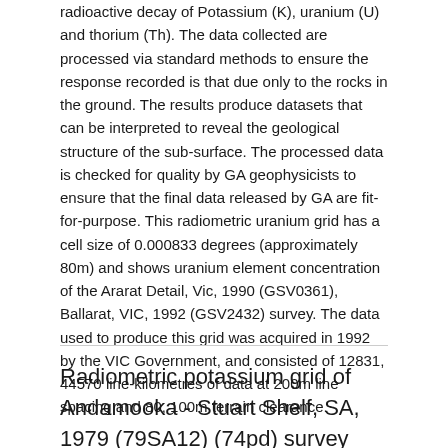radioactive decay of Potassium (K), uranium (U) and thorium (Th). The data collected are processed via standard methods to ensure the response recorded is that due only to the rocks in the ground. The results produce datasets that can be interpreted to reveal the geological structure of the sub-surface. The processed data is checked for quality by GA geophysicists to ensure that the final data released by GA are fit-for-purpose. This radiometric uranium grid has a cell size of 0.000833 degrees (approximately 80m) and shows uranium element concentration of the Ararat Detail, Vic, 1990 (GSV0361), Ballarat, VIC, 1992 (GSV2432) survey. The data used to produce this grid was acquired in 1992 by the VIC Government, and consisted of 12831, 44570 line-kilometres of data at 200m line spacing and 80, 100m terrain clearance.
Radiometric potassium grid of Andamooka - Stuart Shelf, SA, 1979 (79SA12) (74pd) survey